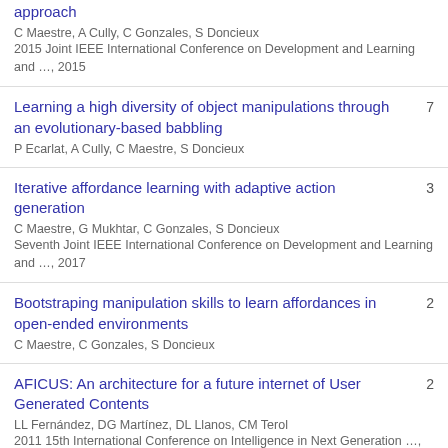approach
C Maestre, A Cully, C Gonzales, S Doncieux
2015 Joint IEEE International Conference on Development and Learning and …, 2015
Learning a high diversity of object manipulations through an evolutionary-based babbling
P Ecarlat, A Cully, C Maestre, S Doncieux
7
Iterative affordance learning with adaptive action generation
C Maestre, G Mukhtar, C Gonzales, S Doncieux
Seventh Joint IEEE International Conference on Development and Learning and …, 2017
3
Bootstraping manipulation skills to learn affordances in open-ended environments
C Maestre, C Gonzales, S Doncieux
2
AFICUS: An architecture for a future internet of User Generated Contents
LL Fernández, DG Martínez, DL Llanos, CM Terol
2011 15th International Conference on Intelligence in Next Generation …, 2011
2